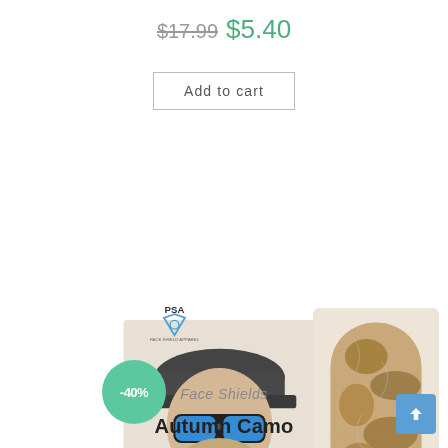$17.99  $5.40
Add to cart
[Figure (photo): Product photo showing a person wearing a desert camo face shield/gaiter with blue mirror sunglasses and a dark baseball cap, alongside a standalone photo of the tube-style face shield in autumn/desert camo pattern. A green circle badge shows -40% discount. PSA logo visible in upper left of image.]
Face Shields
Autumn Camo